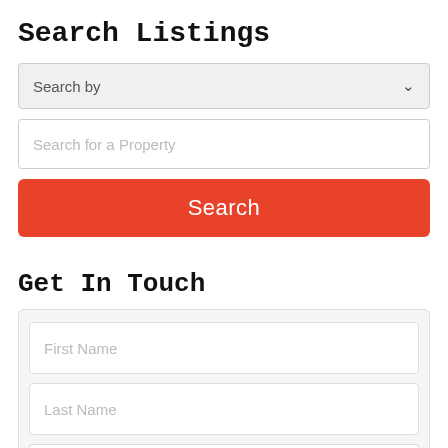Search Listings
[Figure (screenshot): Dropdown select input with placeholder 'Search by' and a chevron arrow on the right]
[Figure (screenshot): Text input field with placeholder 'Search for a Property']
[Figure (screenshot): Red/orange 'Search' button]
Get In Touch
[Figure (screenshot): Contact form card containing three fields: First Name, Last Name, and partially visible Email Address]